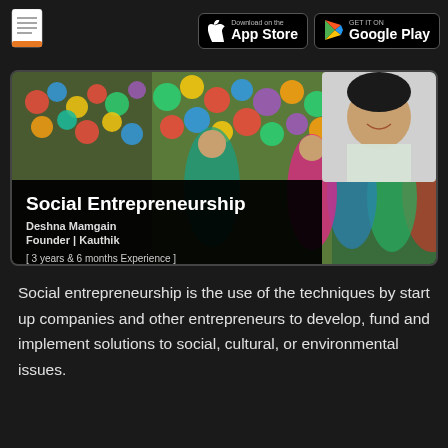[Figure (photo): Card image showing Indian women in colorful traditional clothes at a market stall with hanging floral decorations, and a portrait photo of Deshna Mamgain in the upper right, overlaid with text: Social Entrepreneurship, Deshna Mamgain, Founder | Kauthik, [ 3 years & 6 months Experience ]]
Social entrepreneurship is the use of the techniques by start up companies and other entrepreneurs to develop, fund and implement solutions to social, cultural, or environmental issues.